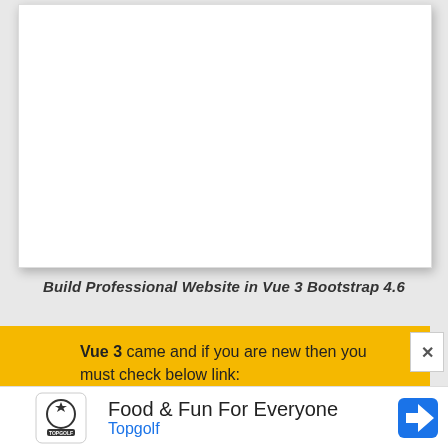[Figure (screenshot): White blank card/slide area with drop shadow, representing a video thumbnail or presentation slide preview]
Build Professional Website in Vue 3 Bootstrap 4.6
Vue 3 came and if you are new then you must check below link:
[Figure (other): Advertisement: Food & Fun For Everyone - Topgolf, with Topgolf logo on left and navigation arrow icon on right]